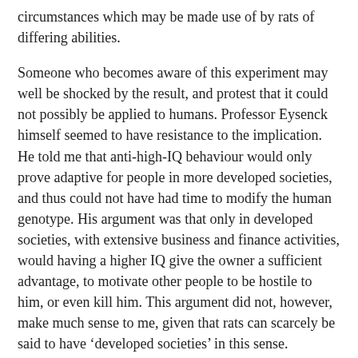circumstances which may be made use of by rats of differing abilities.
Someone who becomes aware of this experiment may well be shocked by the result, and protest that it could not possibly be applied to humans. Professor Eysenck himself seemed to have resistance to the implication. He told me that anti-high-IQ behaviour would only prove adaptive for people in more developed societies, and thus could not have had time to modify the human genotype. His argument was that only in developed societies, with extensive business and finance activities, would having a higher IQ give the owner a sufficient advantage, to motivate other people to be hostile to him, or even kill him. This argument did not, however, make much sense to me, given that rats can scarcely be said to have ‘developed societies’ in this sense.
If there is a tendency in humans corresponding to the desire of rats to kill young rats cleverer than their own offspring, it would certainly help to explain the way the education system has developed as society has become progressively democratised. In spite of occasional nods to the supposed